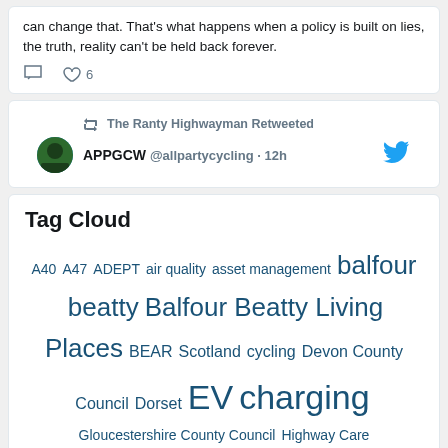can change that. That's what happens when a policy is built on lies, the truth, reality can't be held back forever.
6 likes
The Ranty Highwayman Retweeted
APPGCW @allpartycycling · 12h
Tag Cloud
A40 A47 ADEPT air quality asset management balfour beatty Balfour Beatty Living Places BEAR Scotland cycling Devon County Council Dorset EV charging Gloucestershire County Council Highway Care highways MyMobileWorkers National Highways road safety scotland speed limit SRL Traffic Systems Surrey County Council volkerhighways Group yotta